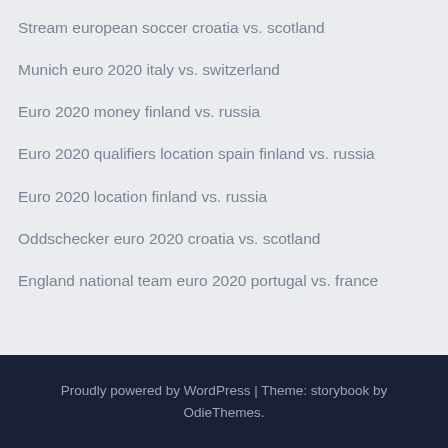Stream european soccer croatia vs. scotland
Munich euro 2020 italy vs. switzerland
Euro 2020 money finland vs. russia
Euro 2020 qualifiers location spain finland vs. russia
Euro 2020 location finland vs. russia
Oddschecker euro 2020 croatia vs. scotland
England national team euro 2020 portugal vs. france
Proudly powered by WordPress | Theme: storybook by OdieThemes.